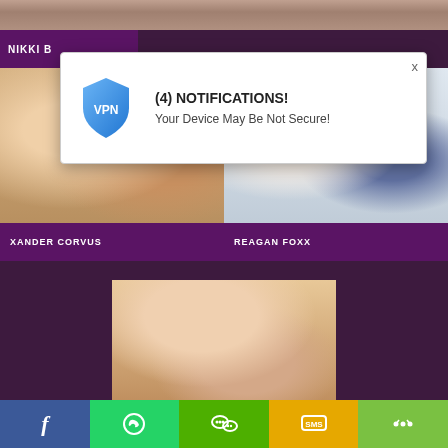[Figure (screenshot): Top image strip showing partial adult content thumbnails]
NIKKI B
[Figure (screenshot): Left thumbnail adult content - XANDER CORVUS]
[Figure (screenshot): Right thumbnail - kitchen scene - REAGAN FOXX]
XANDER CORVUS
REAGAN FOXX
[Figure (screenshot): Bottom center adult content thumbnail]
[Figure (screenshot): VPN notification popup: (4) NOTIFICATIONS! Your Device May Be Not Secure!]
[Figure (infographic): Bottom share bar with Facebook, WhatsApp, WeChat, SMS, and share icons]